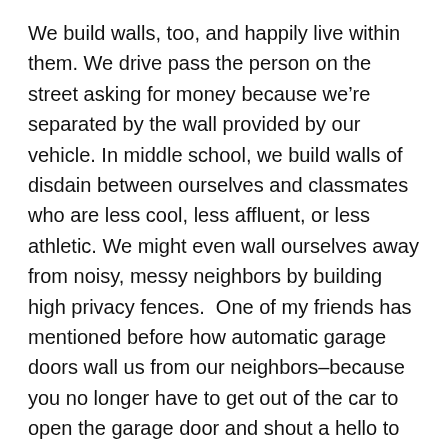We build walls, too, and happily live within them. We drive pass the person on the street asking for money because we're separated by the wall provided by our vehicle. In middle school, we build walls of disdain between ourselves and classmates who are less cool, less affluent, or less athletic. We might even wall ourselves away from noisy, messy neighbors by building high privacy fences.  One of my friends has mentioned before how automatic garage doors wall us from our neighbors–because you no longer have to get out of the car to open the garage door and shout a hello to the neighbor in the yard next door!
Several days ago I saw a video clip from a rally for a presidential candidate who has plans to build a wall between Mexico and the United States. During the rally, the crowd began chanting together, "Build the wall. Build the wall. Build the wall," the chants growing in